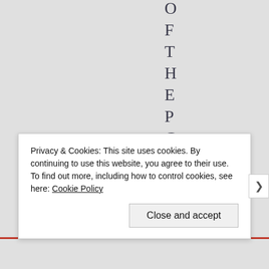O F T H E P C S A R E
Privacy & Cookies: This site uses cookies. By continuing to use this website, you agree to their use.
To find out more, including how to control cookies, see here: Cookie Policy